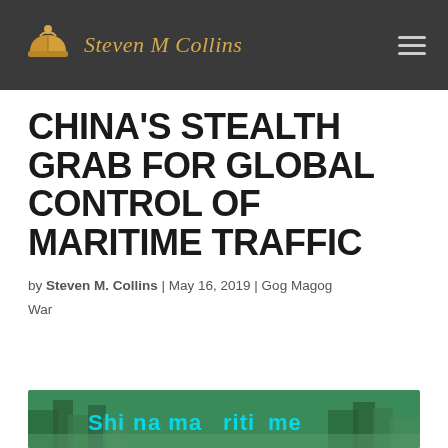Steven M Collins
CHINA'S STEALTH GRAB FOR GLOBAL CONTROL OF MARITIME TRAFFIC
by Steven M. Collins | May 16, 2019 | Gog Magog War
[Figure (photo): Aerial or wide-angle photo of a maritime/shipping scene with teal/cyan overlay text partially visible at the bottom of the page]